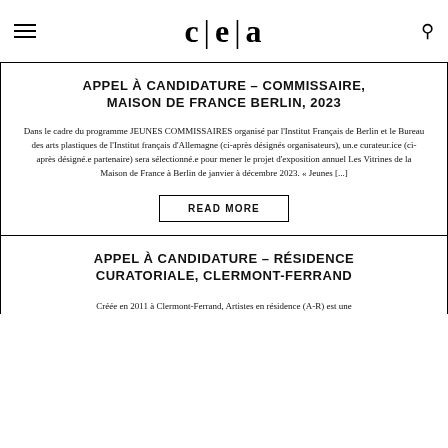c|e|a
APPEL À CANDIDATURE – COMMISSAIRE, MAISON DE FRANCE BERLIN, 2023
Dans le cadre du programme JEUNES COMMISSAIRES organisé par l'Institut Français de Berlin et le Bureau des arts plastiques de l'Institut français d'Allemagne (ci-après désignés organisateurs), un.e curateur.ice (ci-après désigné.e partenaire) sera sélectionné.e pour mener le projet d'exposition annuel Les Vitrines de la Maison de France à Berlin de janvier à décembre 2023. « Jeunes [...]
READ MORE
APPEL À CANDIDATURE – RÉSIDENCE CURATORIALE, CLERMONT-FERRAND
Créée en 2011 à Clermont-Ferrand, Artistes en résidence (A-R) est une